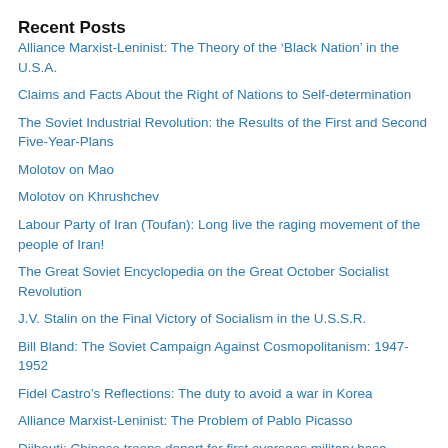Recent Posts
Alliance Marxist-Leninist: The Theory of the ‘Black Nation’ in the U.S.A.
Claims and Facts About the Right of Nations to Self-determination
The Soviet Industrial Revolution: the Results of the First and Second Five-Year-Plans
Molotov on Mao
Molotov on Khrushchev
Labour Party of Iran (Toufan): Long live the raging movement of the people of Iran!
The Great Soviet Encyclopedia on the Great October Socialist Revolution
J.V. Stalin on the Final Victory of Socialism in the U.S.S.R.
Bill Bland: The Soviet Campaign Against Cosmopolitanism: 1947-1952
Fidel Castro’s Reflections: The duty to avoid a war in Korea
Alliance Marxist-Leninist: The Problem of Pablo Picasso
Djibouti: Chinese troops depart for first overseas military base
V.I. Lenin to American Workers
J.V. Stalin on Industry in Colonial Countries
ICMLPO: Resolution on Turkey